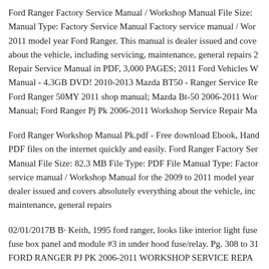Ford Ranger Factory Service Manual / Workshop Manual File Size: Manual Type: Factory Service Manual Factory service manual / Workshop Manual for the 2011 model year Ford Ranger. This manual is dealer issued and covers about the vehicle, including servicing, maintenance, general repairs 2 Repair Service Manual in PDF, 3,000 PAGES; 2011 Ford Vehicles W Manual - 4.3GB DVD! 2010-2013 Mazda BT50 - Ranger Service Re Ford Ranger 50MY 2011 shop manual; Mazda Bt-50 2006-2011 Workshop Manual; Ford Ranger Pj Pk 2006-2011 Workshop Service Repair Ma
Ford Ranger Workshop Manual Pk.pdf - Free download Ebook, Handbook PDF files on the internet quickly and easily. Ford Ranger Factory Service Manual File Size: 82.3 MB File Type: PDF File Manual Type: Factory service manual / Workshop Manual for the 2009 to 2011 model year dealer issued and covers absolutely everything about the vehicle, including maintenance, general repairs
02/01/2017B B· Keith, 1995 ford ranger, looks like interior light fuse fuse box panel and module #3 in under hood fuse/relay. Pg. 308 to 31 FORD RANGER PJ PK 2006-2011 WORKSHOP SERVICE REPAIR